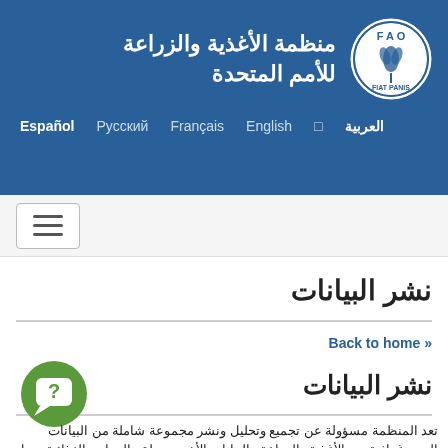منظمة الأغذية والزراعة للأمم المتحدة
Español  Русский  Français  English  □  العربية
[Figure (logo): FAO circular logo with wheat symbol and text FIAT PANIS]
[Figure (other): Hamburger menu button with three horizontal lines]
نشر البيانات
Back to home »
نشر البيانات
[Figure (illustration): Green circle icon with white question mark speech bubble]
تعد المنظمة مسؤولة عن تجميع وتحليل ونشر مجموعة شاملة من البيانات الديموغرافية من الأغذية والزراعة والبيانات الأخرى تتعلق بالمعايير الغذائية تعمل